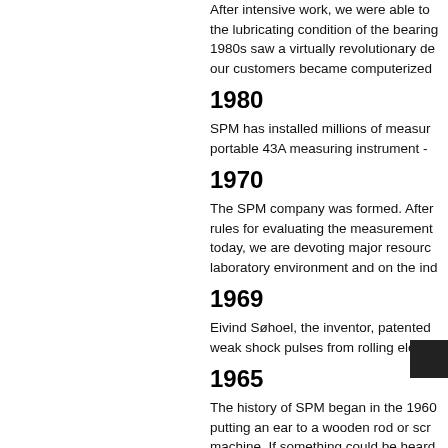After intensive work, we were able to the lubricating condition of the bearing 1980s saw a virtually revolutionary de our customers became computerized
1980
SPM has installed millions of measure portable 43A measuring instrument -
1970
The SPM company was formed. After rules for evaluating the measurement today, we are devoting major resource laboratory environment and on the ind
1969
Eivind Søhoel, the inventor, patented weak shock pulses from rolling elem
1965
The history of SPM began in the 1960 putting an ear to a wooden rod or scr machine. If something could be heard Danish ship owner, found out from bit tankers were breaking down far too o enterprising financier decided to do s